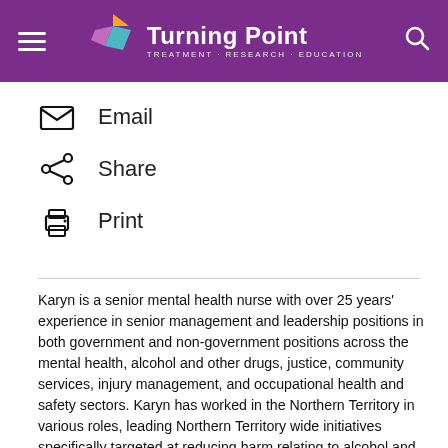Turning Point | Treatment · Research · Education
Email
Share
Print
Karyn is a senior mental health nurse with over 25 years' experience in senior management and leadership positions in both government and non-government positions across the mental health, alcohol and other drugs, justice, community services, injury management, and occupational health and safety sectors. Karyn has worked in the Northern Territory in various roles, leading Northern Territory wide initiatives specifically targeted at reducing harm relating to alcohol and other drug misuse, and diverting people away from custody. Karyn previously held several leadership roles at Eastern Health Alcohol and Other Drug services, and Turning Point where she was responsible for the clinical services at the Fitzroy clinic and Telephone and Online Services. Karyn has been the executive